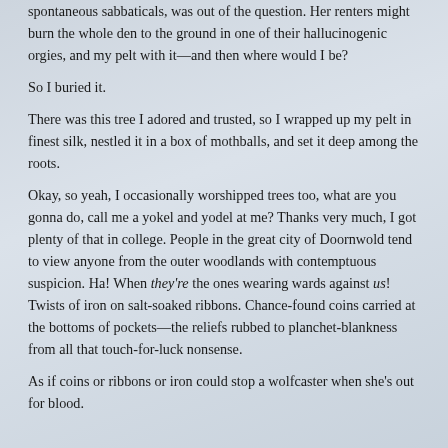spontaneous sabbaticals, was out of the question. Her renters might burn the whole den to the ground in one of their hallucinogenic orgies, and my pelt with it—and then where would I be?
So I buried it.
There was this tree I adored and trusted, so I wrapped up my pelt in finest silk, nestled it in a box of mothballs, and set it deep among the roots.
Okay, so yeah, I occasionally worshipped trees too, what are you gonna do, call me a yokel and yodel at me? Thanks very much, I got plenty of that in college. People in the great city of Doornwold tend to view anyone from the outer woodlands with contemptuous suspicion. Ha! When they're the ones wearing wards against us! Twists of iron on salt-soaked ribbons. Chance-found coins carried at the bottoms of pockets—the reliefs rubbed to planchet-blankness from all that touch-for-luck nonsense.
As if coins or ribbons or iron could stop a wolfcaster when she's out for blood.